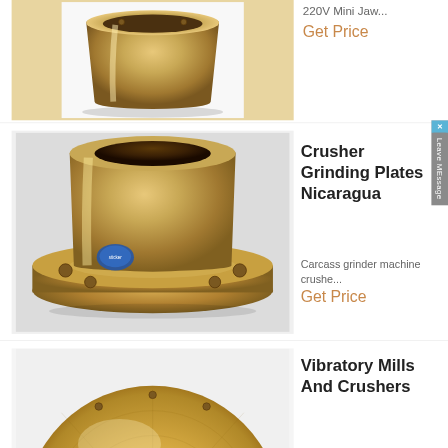[Figure (photo): Bronze/brass cup bushing component, cylindrical shape, metallic golden color, top view angled, on white background]
220V Mini Jaw...
Get Price
[Figure (photo): Bronze/brass flanged bushing component with central bore and bolt holes, cylindrical with wide base flange, metallic golden color, with blue sticker label, on white cloth background]
Crusher Grinding Plates Nicaragua
Carcass grinder machine crushe...
Get Price
[Figure (photo): Large bronze/brass disk or plate component, circular, metallic golden color, with small holes visible, on white background]
Vibratory Mills And Crushers